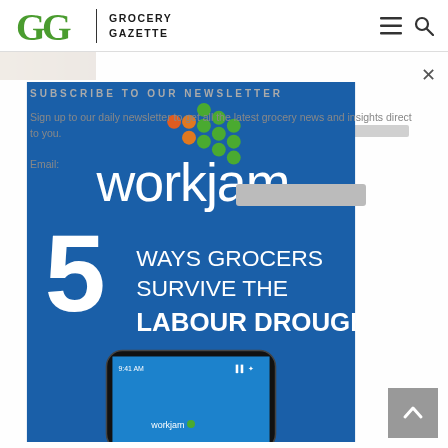Grocery Gazette
[Figure (screenshot): Grocery Gazette website screenshot showing header with logo, hamburger menu and search icon, with a newsletter subscribe overlay and a WorkJam advertisement banner reading '5 Ways Grocers Survive the Labour Drought']
SUBSCRIBE TO OUR NEWSLETTER
Sign up to our daily newsletter to get all the latest grocery news and insights direct to you.
Email: